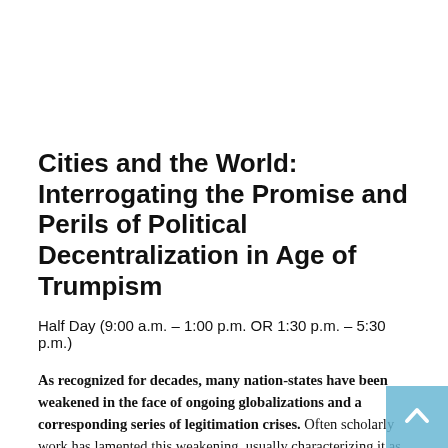Cities and the World: Interrogating the Promise and Perils of Political Decentralization in Age of Trumpism
Half Day (9:00 a.m. – 1:00 p.m. OR 1:30 p.m. – 5:30 p.m.)
As recognized for decades, many nation-states have been weakened in the face of ongoing globalizations and a corresponding series of legitimation crises. Often scholarly work has lamented this weakening, usually characterizing it as resulting from the historical development of the neoliberal order over the last half-century. However, of late a number of keen observers – coming from the left, right,